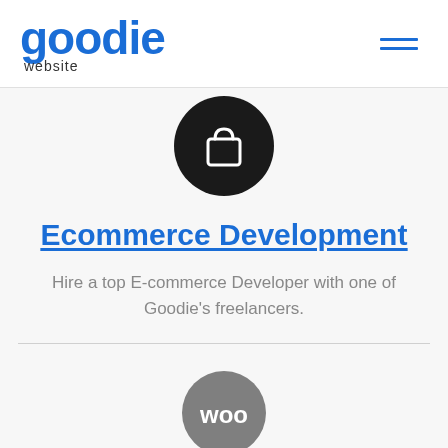goodie website
[Figure (illustration): Black circle with white shopping bag icon]
Ecommerce Development
Hire a top E-commerce Developer with one of Goodie's freelancers.
[Figure (logo): Grey circle with 'woo' text — WooCommerce logo, partially cropped at bottom]